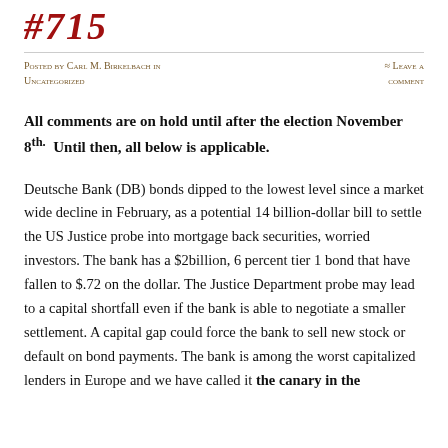#715
Posted by Carl M. Birkelbach in Uncategorized
≈ Leave a comment
All comments are on hold until after the election November 8th.  Until then, all below is applicable.
Deutsche Bank (DB) bonds dipped to the lowest level since a market wide decline in February, as a potential 14 billion-dollar bill to settle the US Justice probe into mortgage back securities, worried investors. The bank has a $2billion, 6 percent tier 1 bond that have fallen to $.72 on the dollar. The Justice Department probe may lead to a capital shortfall even if the bank is able to negotiate a smaller settlement. A capital gap could force the bank to sell new stock or default on bond payments. The bank is among the worst capitalized lenders in Europe and we have called it the canary in the...